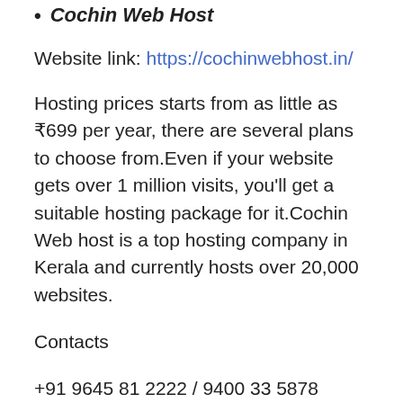Cochin Web Host
Website link: https://cochinwebhost.in/
Hosting prices starts from as little as ₹699 per year, there are several plans to choose from.Even if your website gets over 1 million visits, you'll get a suitable hosting package for it.Cochin Web host is a top hosting company in Kerala and currently hosts over 20,000 websites.
Contacts
+91 9645 81 2222 / 9400 33 5878